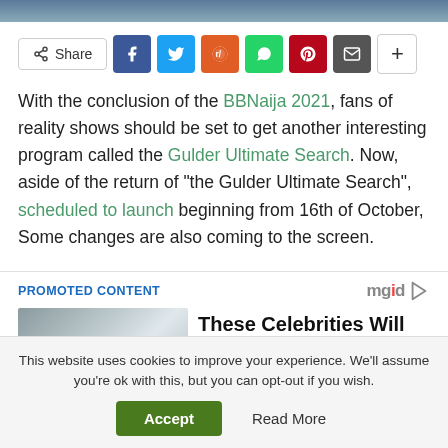[Figure (photo): Top banner image, partially visible, blue-grey tones]
[Figure (infographic): Social share bar with Share label, Facebook, Twitter, Reddit, WhatsApp, Pinterest, Email, and More buttons]
With the conclusion of the BBNaija 2021, fans of reality shows should be set to get another interesting program called the Gulder Ultimate Search. Now, aside of the return of “the Gulder Ultimate Search”, scheduled to launch beginning from 16th of October, Some changes are also coming to the screen.
PROMOTED CONTENT
[Figure (photo): Thumbnail image of two people for promoted article]
These Celebrities Will Forever Be Associated With Infidelity
This website uses cookies to improve your experience. We'll assume you're ok with this, but you can opt-out if you wish.